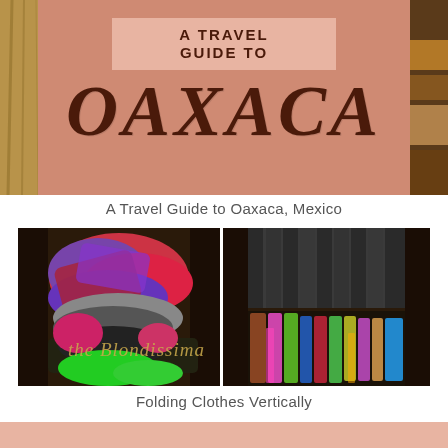[Figure (photo): Top banner: travel guide to Oaxaca header image with decorative side photos and pink/salmon background with large bold 'OAXACA' text and 'A TRAVEL GUIDE TO' banner]
A Travel Guide to Oaxaca, Mexico
[Figure (photo): Side-by-side photos of a suitcase: left side showing messy jumbled colorful clothes, right side showing same clothes neatly folded vertically. Watermark text 'the Blondissima' across the image.]
Folding Clothes Vertically
[Figure (photo): Bottom pink/salmon colored banner strip]